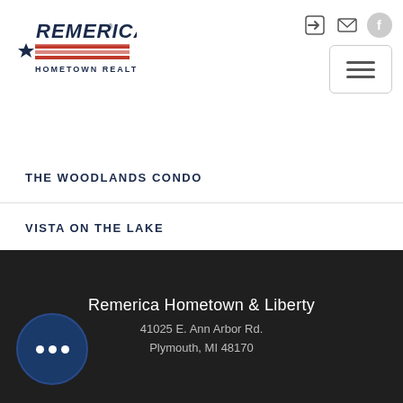[Figure (logo): Remerica Hometown Realtors logo with star and flag design]
THE WOODLANDS CONDO
VISTA ON THE LAKE
WEST RIDGE SUB
WINANS WOODS SITE CONDO
Remerica Hometown & Liberty
41025 E. Ann Arbor Rd.
Plymouth, MI 48170